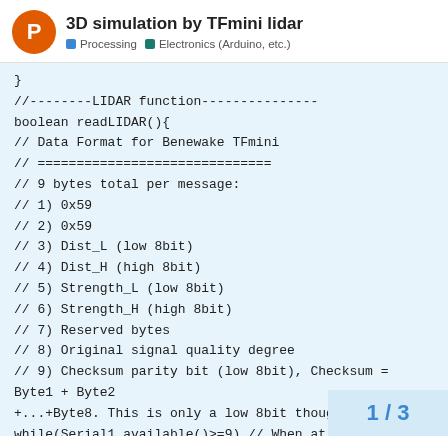3D simulation by TFmini lidar — Processing · Electronics (Arduino, etc.)
}
//--------LIDAR function---------------
boolean readLIDAR(){
// Data Format for Benewake TFmini
// ==============================
// 9 bytes total per message:
// 1) 0x59
// 2) 0x59
// 3) Dist_L (low 8bit)
// 4) Dist_H (high 8bit)
// 5) Strength_L (low 8bit)
// 6) Strength_H (high 8bit)
// 7) Reserved bytes
// 8) Original signal quality degree
// 9) Checksum parity bit (low 8bit), Checksum = Byte1 + Byte2 +...+Byte8. This is only a low 8bit though
while(Serial1.available()>=9) // When at least 9 bytes of data available (expected number of bytes for 1
{